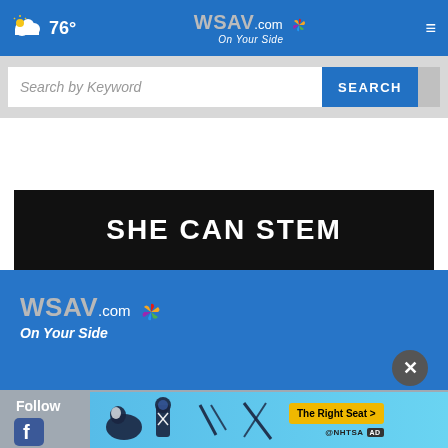76° WSAV.com On Your Side
Search by Keyword
SEARCH
[Figure (screenshot): SHE CAN STEM banner advertisement on dark background]
[Figure (logo): WSAV.com On Your Side logo on blue background]
Follow
[Figure (screenshot): NHTSA The Right Seat advertisement with car seat safety icons on light blue background]